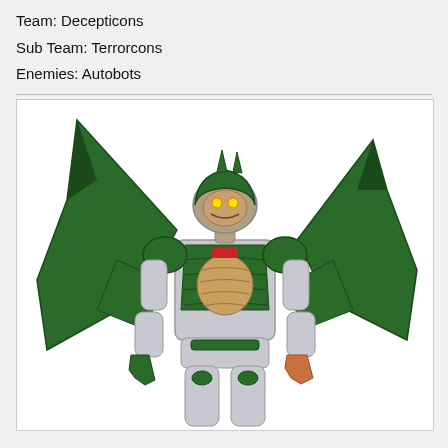Team: Decepticons
Sub Team: Terrorcons
Enemies: Autobots
[Figure (illustration): Illustrated robot character with green wings/cape and silver armor, resembling a Transformers Terrorcon character in robot mode, shown from the front with large green bat-like wings spread behind it, silver and white mechanical limbs, a green scaled chest piece, and a humanoid green-helmeted head.]